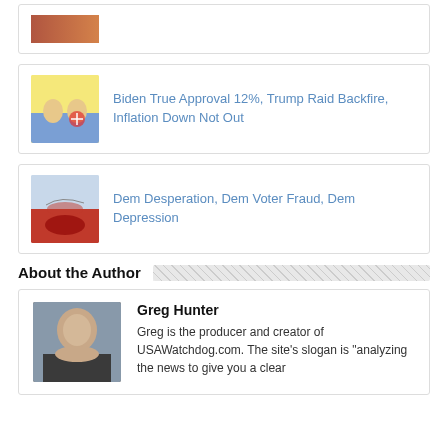[Figure (photo): Partial card with thumbnail image at top of page]
Biden True Approval 12%, Trump Raid Backfire, Inflation Down Not Out
Dem Desperation, Dem Voter Fraud, Dem Depression
About the Author
Greg Hunter
Greg is the producer and creator of USAWatchdog.com. The site's slogan is "analyzing the news to give you a clear